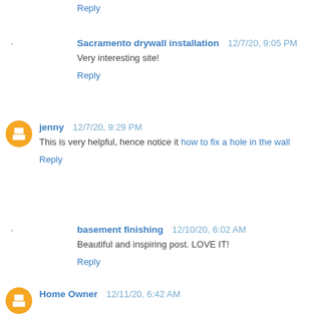Reply
Sacramento drywall installation  12/7/20, 9:05 PM
Very interesting site!
Reply
jenny  12/7/20, 9:29 PM
This is very helpful, hence notice it how to fix a hole in the wall
Reply
basement finishing  12/10/20, 6:02 AM
Beautiful and inspiring post. LOVE IT!
Reply
Home Owner  12/11/20, 6:42 AM